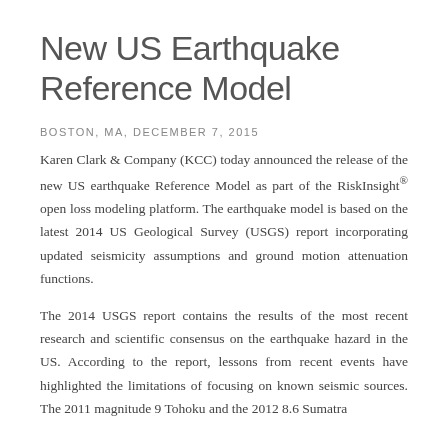New US Earthquake Reference Model
BOSTON, MA, DECEMBER 7, 2015
Karen Clark & Company (KCC) today announced the release of the new US earthquake Reference Model as part of the RiskInsight® open loss modeling platform. The earthquake model is based on the latest 2014 US Geological Survey (USGS) report incorporating updated seismicity assumptions and ground motion attenuation functions.
The 2014 USGS report contains the results of the most recent research and scientific consensus on the earthquake hazard in the US. According to the report, lessons from recent events have highlighted the limitations of focusing on known seismic sources. The 2011 magnitude 9 Tohoku and the 2012 8.6 Sumatra